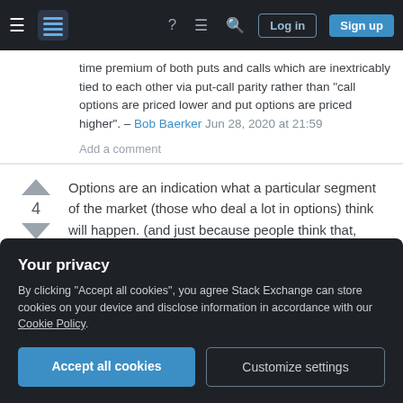Stack Exchange navigation bar with Log in and Sign up buttons
time premium of both puts and calls which are inextricably tied to each other via put-call parity rather than "call options are priced lower and put options are priced higher". – Bob Baerker Jun 28, 2020 at 21:59
Add a comment
Options are an indication what a particular segment of the market (those who deal a lot in options) think will happen. (and just because people think that, doesn't mean it will) Bearing in mind however that people writing covered-calls may due so simply as
Your privacy
By clicking "Accept all cookies", you agree Stack Exchange can store cookies on your device and disclose information in accordance with our Cookie Policy.
Accept all cookies   Customize settings
making the opposite bet.. so who is to say which will